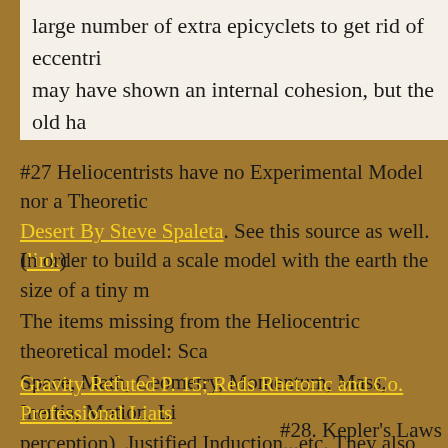large number of extra epicyclets to get rid of eccentri... may have shown an internal cohesion, but the old ha... being split into separate units of less complexity and...
#27 Heliocentrists have no Experimental Model nor a Theoreti... Desert By Steve Spaleta. See this source as well.(link)
In order to build a scale model with the earth the size of a tiny m... The items missing from the Heliocentric theoretical model: Sca... Space, Math, Geometry, Momentum, Mass, Inertia, Motion, Li... perception), Justified Induction...etc. They also demand from the... the goal posts and say the experiment is impossible.
Gravity Refuted P. 15; Reds Rhetoric and Co. Professional Liars...
#28. Kepler's Laws...